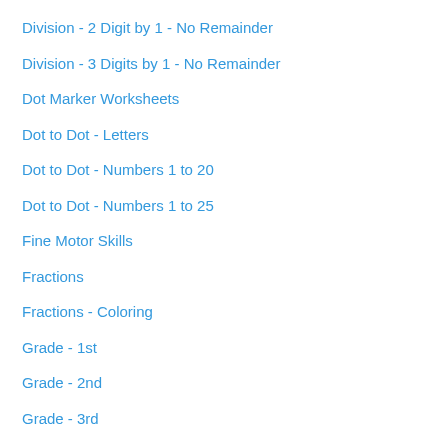Division - 2 Digit by 1 - No Remainder
Division - 3 Digits by 1 - No Remainder
Dot Marker Worksheets
Dot to Dot - Letters
Dot to Dot - Numbers 1 to 20
Dot to Dot - Numbers 1 to 25
Fine Motor Skills
Fractions
Fractions - Coloring
Grade - 1st
Grade - 2nd
Grade - 3rd
Grade - 4th